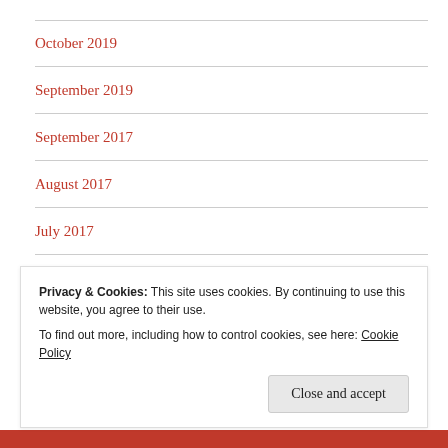October 2019
September 2019
September 2017
August 2017
July 2017
April 2017
Privacy & Cookies: This site uses cookies. By continuing to use this website, you agree to their use.
To find out more, including how to control cookies, see here: Cookie Policy
Close and accept